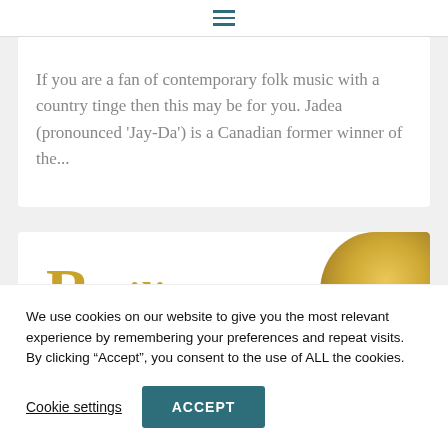≡ (hamburger menu)
If you are a fan of contemporary folk music with a country tinge then this may be for you. Jadea (pronounced ‘Jay-Da’) is a Canadian former winner of the...
[Figure (other): Album card showing 'Resilience' title in gold serif font with decorative capital R, and a gold/yellow textured circular image on the right]
We use cookies on our website to give you the most relevant experience by remembering your preferences and repeat visits. By clicking “Accept”, you consent to the use of ALL the cookies.
Cookie settings   ACCEPT